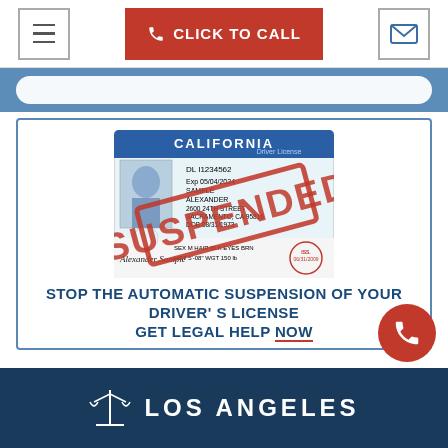[Figure (screenshot): Navigation bar with hamburger menu icon, red CLICK TO CALL button with phone icon, and email envelope icon]
[Figure (screenshot): Blue search/input bar partial view]
[Figure (photo): California Driver License sample with SUSPENDED stamp overlay in red]
STOP THE AUTOMATIC SUSPENSION OF YOUR DRIVER'S LICENSE GET LEGAL HELP NOW
[Figure (illustration): Red circular phone call FAB button]
LOS ANGELES